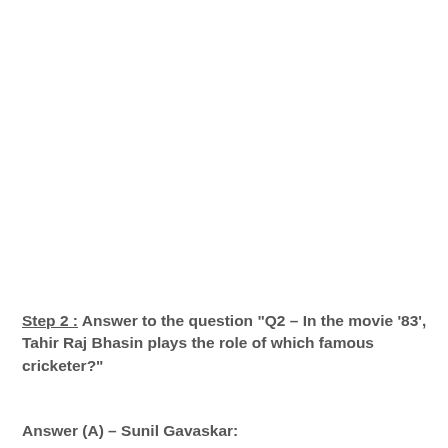Step 2 : Answer to the question "Q2 – In the movie '83', Tahir Raj Bhasin plays the role of which famous cricketer?"
Answer (A) – Sunil Gavaskar: